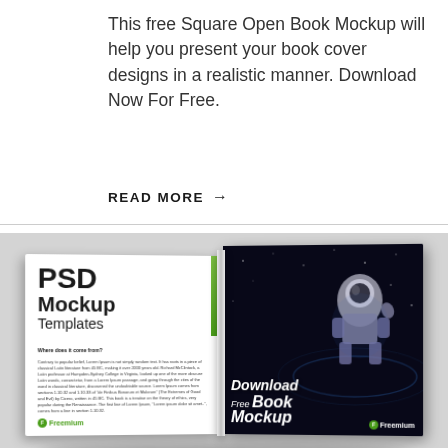This free Square Open Book Mockup will help you present your book cover designs in a realistic manner. Download Now For Free.
READ MORE →
[Figure (photo): An open square book mockup displayed on a gray background. The left page shows 'PSD Mockup Templates' text with a green accent strip and body text with a Freemium logo. The right page is dark/black with an astronaut image and text reading 'Download Free Book Mockup' with a Freemium logo.]